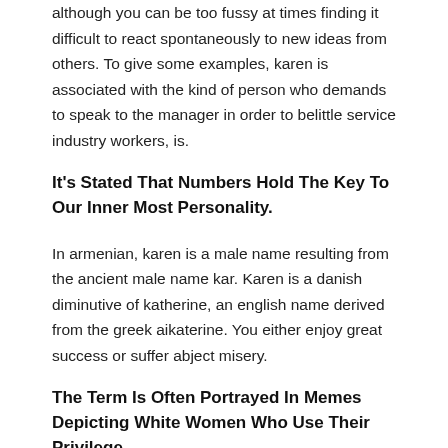although you can be too fussy at times finding it difficult to react spontaneously to new ideas from others. To give some examples, karen is associated with the kind of person who demands to speak to the manager in order to belittle service industry workers, is.
It's Stated That Numbers Hold The Key To Our Inner Most Personality.
In armenian, karen is a male name resulting from the ancient male name kar. Karen is a danish diminutive of katherine, an english name derived from the greek aikaterine. You either enjoy great success or suffer abject misery.
The Term Is Often Portrayed In Memes Depicting White Women Who Use Their Privilege